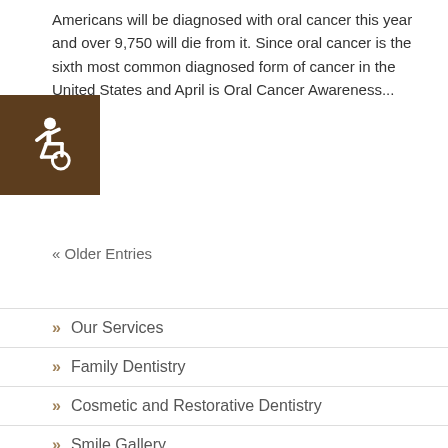Americans will be diagnosed with oral cancer this year and over 9,750 will die from it. Since oral cancer is the sixth most common diagnosed form of cancer in the United States and April is Oral Cancer Awareness...
[Figure (illustration): Accessibility icon: white wheelchair figure on dark brown square background]
« Older Entries
» Our Services
» Family Dentistry
» Cosmetic and Restorative Dentistry
» Smile Gallery
» TMJ Therapy
» TMJ BOTOX® Therapy
» Neuromuscular Therapy
» Advanced Technology